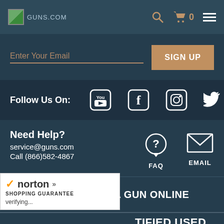GUNS.COM | Search | Cart 0 | Menu
Enter Your Email
SIGN UP
Follow Us On: [YouTube] [Facebook] [Instagram] [Twitter]
Need Help?
service@guns.com
Call (866)582-4867
FAQ
EMAIL
HOW TO BUY A GUN ONLINE
norton SHOPPING GUARANTEE verifying...
TIFIED USED GUNS